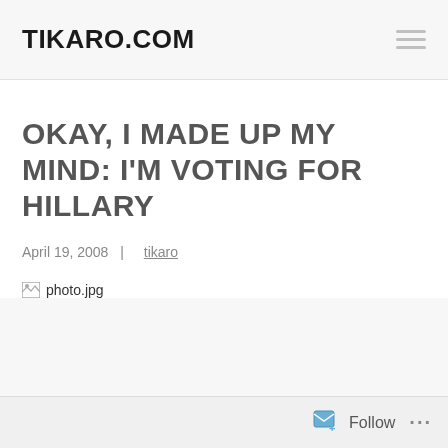TIKARO.COM
OKAY, I MADE UP MY MIND: I’M VOTING FOR HILLARY
April 19, 2008 | tikaro
[Figure (other): Broken image placeholder showing 'photo.jpg']
Follow ...